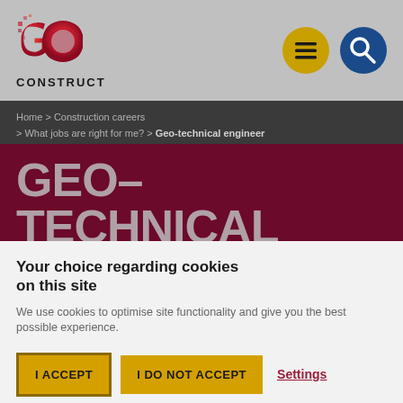[Figure (logo): Go Construct logo with stylized G and O letters in red/maroon gradient with pixel dot motif, company name CONSTRUCT below]
[Figure (screenshot): Yellow circular hamburger menu icon and blue circular search icon in navigation header]
Home > Construction careers > What jobs are right for me? > Geo-technical engineer
GEO-TECHNICAL ENGINEER
Your choice regarding cookies on this site
We use cookies to optimise site functionality and give you the best possible experience.
I ACCEPT | I DO NOT ACCEPT | Settings